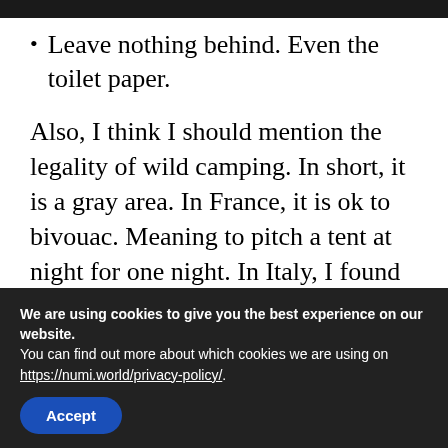Leave nothing behind. Even the toilet paper.
Also, I think I should mention the legality of wild camping. In short, it is a gray area. In France, it is ok to bivouac. Meaning to pitch a tent at night for one night. In Italy, I found that you can pitch a tent only if you are above 2500m. Otherwise, you might get a fine of 500 EUR if they catch you. But
We are using cookies to give you the best experience on our website.
You can find out more about which cookies we are using on https://numi.world/privacy-policy/.
Accept